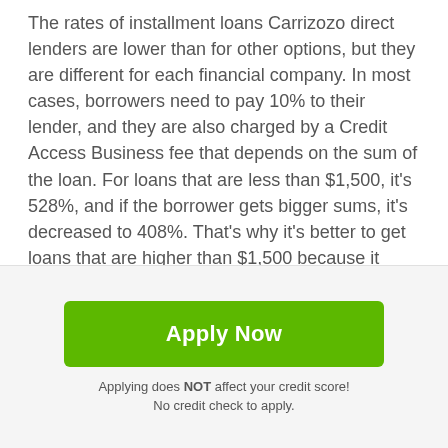The rates of installment loans Carrizozo direct lenders are lower than for other options, but they are different for each financial company. In most cases, borrowers need to pay 10% to their lender, and they are also charged by a Credit Access Business fee that depends on the sum of the loan. For loans that are less than $1,500, it's 528%, and if the borrower gets bigger sums, it's decreased to 408%. That's why it's better to get loans that are higher than $1,500 because it allows saving cash.
How to make payments
To make payments for Carrizozo installment loans no credit check direct lenders, you need to pay attention…
[Figure (other): Scroll-to-top button: dark grey rounded square with white upward arrow]
Apply Now
Applying does NOT affect your credit score!
No credit check to apply.